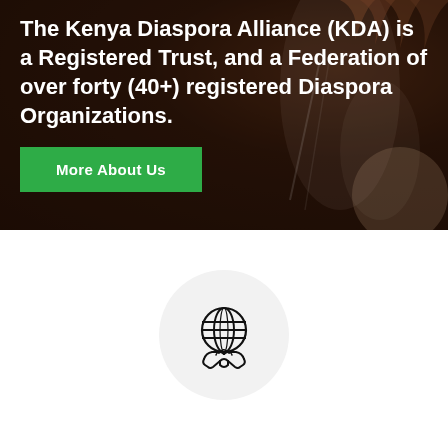The Kenya Diaspora Alliance (KDA) is a Registered Trust, and a Federation of over forty (40+) registered Diaspora Organizations.
[Figure (illustration): Green button labeled 'More About Us' over a dark photographic background showing hands]
[Figure (illustration): Circular icon on light gray circle background showing a globe with handshake underneath, black outline style]